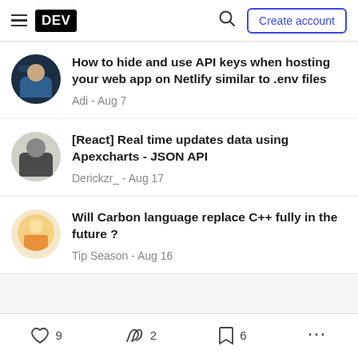DEV — Create account
How to hide and use API keys when hosting your web app on Netlify similar to .env files
Adi - Aug 7
[React] Real time updates data using Apexcharts - JSON API
Derickzr_ - Aug 17
Will Carbon language replace C++ fully in the future ?
Tip Season - Aug 16
9  2  6  ...